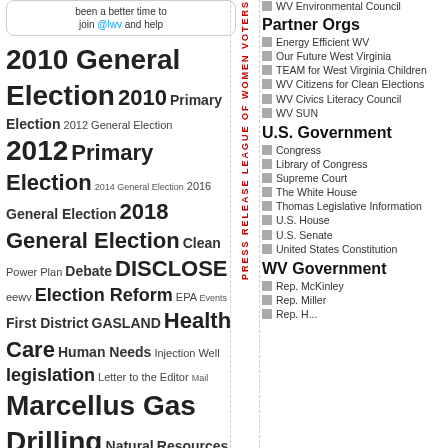been a better time to join @lwv and help
2010 General Election 2010 Primary Election 2012 General Election 2012 Primary Election 2014 General Election 2016 General Election 2018 General Election Clean Power Plan Debate DISCLOSE eewv Election Reform EPA Events First District GASLAND Health Care Human Needs Injection Well legislation Letter to the Editor Mail Marcellus Gas Drilling Natural Resources Report News Story Nonpartisan Candidates Primary Election priorities public
PRESS RELEASE LEAGUE OF WOMEN VOTERS
WV Environmental Council
Partner Orgs
Energy Efficient WV
Our Future West Virginia
TEAM for West Virginia Children
WV Citizens for Clean Elections
WV Civics Literacy Council
WV SUN
U.S. Government
Congress
Library of Congress
Supreme Court
The White House
Thomas Legislative Information
U.S. House
U.S. Senate
United States Constitution
WV Government
Rep. McKinley
Rep. Miller
Rep. ...